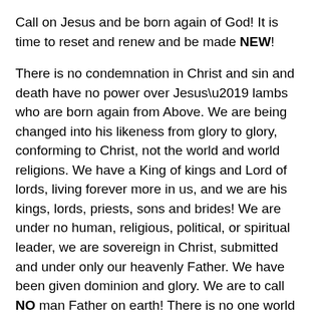Call on Jesus and be born again of God! It is time to reset and renew and be made NEW!
There is no condemnation in Christ and sin and death have no power over Jesus’ lambs who are born again from Above. We are being changed into his likeness from glory to glory, conforming to Christ, not the world and world religions. We have a King of kings and Lord of lords, living forever more in us, and we are his kings, lords, priests, sons and brides! We are under no human, religious, political, or spiritual leader, we are sovereign in Christ, submitted and under only our heavenly Father. We have been given dominion and glory. We are to call NO man Father on earth! There is no one world government or one world religion; there is only our Father who is above all and through all and in all.